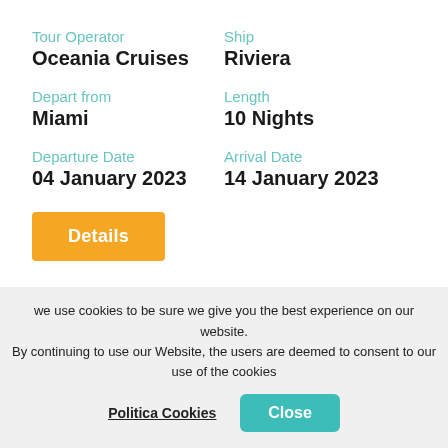Tour Operator
Oceania Cruises
Ship
Riviera
Depart from
Miami
Length
10 Nights
Departure Date
04 January 2023
Arrival Date
14 January 2023
Details
[Figure (logo): Oceania Cruises logo with anchor icon and tagline 'Your World. Your Way.']
we use cookies to be sure we give you the best experience on our website. By continuing to use our Website, the users are deemed to consent to our use of the cookies
Politica Cookies
Close